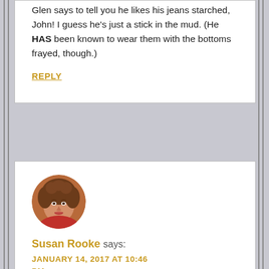Glen says to tell you he likes his jeans starched, John! I guess he’s just a stick in the mud. (He HAS been known to wear them with the bottoms frayed, though.)
REPLY
[Figure (photo): Circular avatar photo of Susan Rooke, a woman with curly brown hair wearing a red top]
Susan Rooke says:
JANUARY 14, 2017 AT 10:46 PM